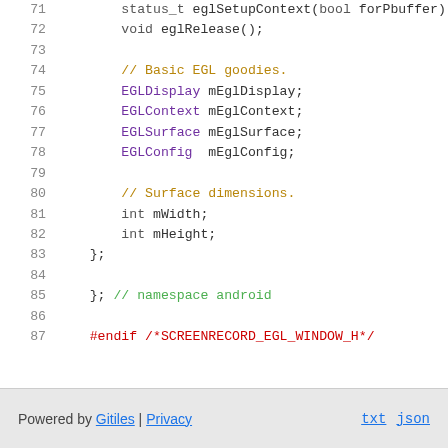[Figure (screenshot): Source code viewer showing C++ header file lines 71-87. Lines show EGL context methods and member variables including eglSetupContext, eglRelease, EGLDisplay, EGLContext, EGLSurface, EGLConfig, mWidth, mHeight, closing braces, namespace android, and #endif directive. Syntax highlighted with purple for types, dark yellow for comments, red for preprocessor, and gray for keywords.]
Powered by Gitiles | Privacy    txt  json